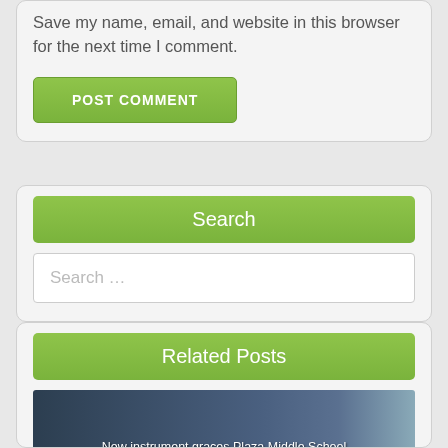Save my name, email, and website in this browser for the next time I comment.
POST COMMENT
Search
Search …
Related Posts
New instrument graces Plaza Middle School